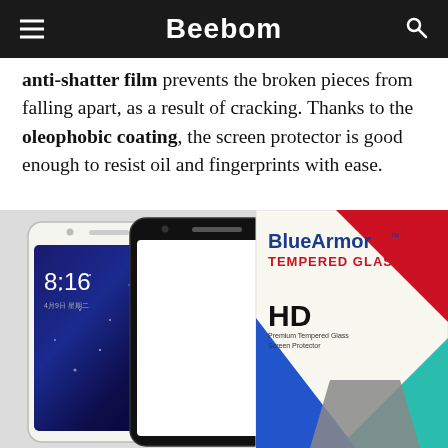Beebom
anti-shatter film prevents the broken pieces from falling apart, as a result of cracking. Thanks to the oleophobic coating, the screen protector is good enough to resist oil and fingerprints with ease.
[Figure (photo): Product photo showing two smartphones (white and black) with a BlueArmor Tempered Glass screen protector packaging box on the right side.]